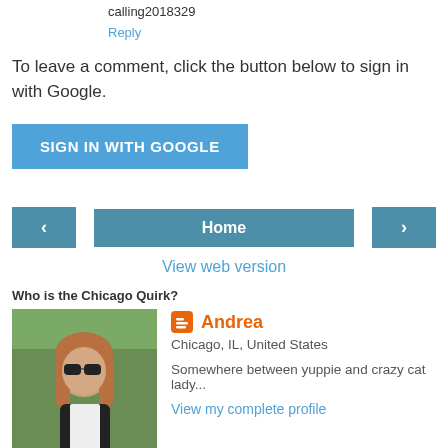calling2018329
Reply
To leave a comment, click the button below to sign in with Google.
[Figure (other): Sign in with Google button (blue rectangle with white text)]
[Figure (other): Navigation row with left arrow button, Home button, and right arrow button]
View web version
Who is the Chicago Quirk?
[Figure (photo): Profile photo of Andrea, a woman with long blonde/auburn hair and dark sunglasses, outdoors with trees.]
Andrea
Chicago, IL, United States
Somewhere between yuppie and crazy cat lady...
View my complete profile
Powered by Blogger.